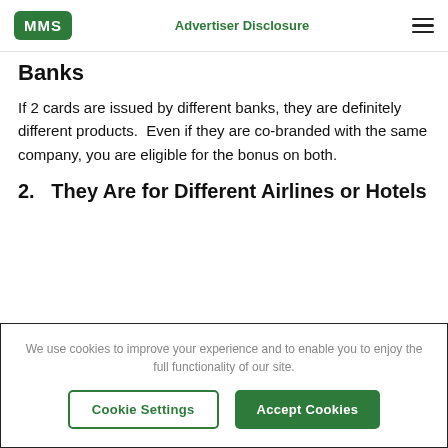MMS  Advertiser Disclosure
Banks
If 2 cards are issued by different banks, they are definitely different products.  Even if they are co-branded with the same company, you are eligible for the bonus on both.
2.   They Are for Different Airlines or Hotels
We use cookies to improve your experience and to enable you to enjoy the full functionality of our site.
Cookie Settings  Accept Cookies